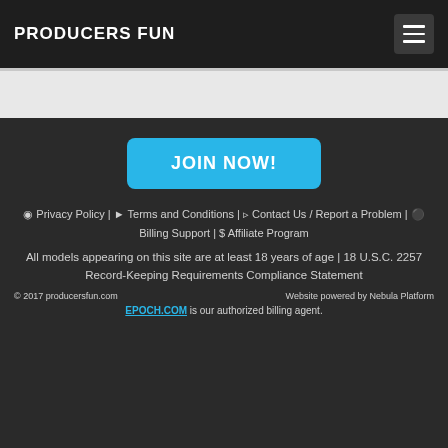PRODUCERS FUN
JOIN NOW!
👁 Privacy Policy | 🔑 Terms and Conditions | 💬 Contact Us / Report a Problem | ⚽ Billing Support | $ Affiliate Program
All models appearing on this site are at least 18 years of age | 18 U.S.C. 2257 Record-Keeping Requirements Compliance Statement
© 2017 producersfun.com    Website powered by Nebula Platform    EPOCH.COM is our authorized billing agent.